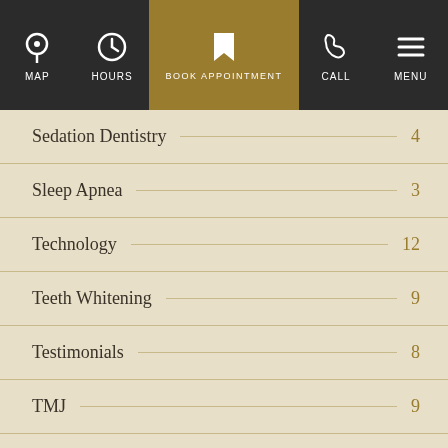MAP | HOURS | BOOK APPOINTMENT | CALL | MENU
Sedation Dentistry 4
Sleep Apnea 3
Technology 12
Teeth Whitening 9
Testimonials 8
TMJ 9
Veneers 13
Book an appointment today!